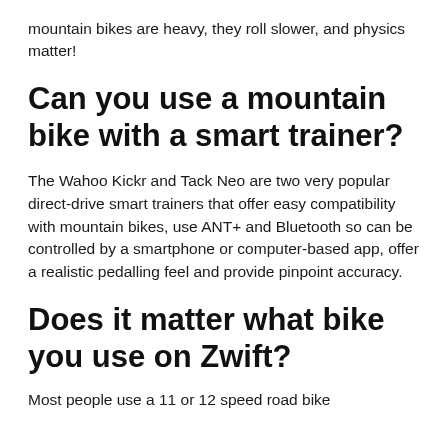mountain bikes are heavy, they roll slower, and physics matter!
Can you use a mountain bike with a smart trainer?
The Wahoo Kickr and Tack Neo are two very popular direct-drive smart trainers that offer easy compatibility with mountain bikes, use ANT+ and Bluetooth so can be controlled by a smartphone or computer-based app, offer a realistic pedalling feel and provide pinpoint accuracy.
Does it matter what bike you use on Zwift?
Most people use a 11 or 12 speed road bike